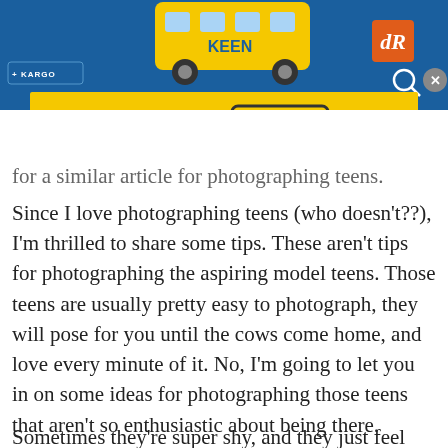[Figure (screenshot): Top blue navigation bar with KARGO logo, a yellow school bus illustration, an orange dR logo, a KEEN brand advertisement banner reading LIFE IS KEEN in bold black text on yellow background, search icon and close X button]
for a similar article for photographing teens.
Since I love photographing teens (who doesn't??), I'm thrilled to share some tips. These aren't tips for photographing the aspiring model teens. Those teens are usually pretty easy to photograph, they will pose for you until the cows come home, and love every minute of it. No, I'm going to let you in on some ideas for photographing those teens that aren't so enthusiastic about being there.
Sometimes they're super shy, and they just feel